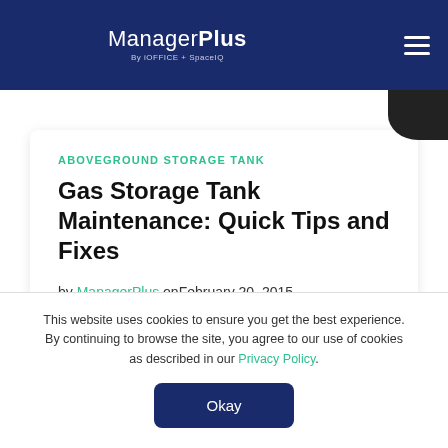ManagerPlus By iOFFICE + SpaceIQ
ABOVEGROUND STORAGE TANK
Gas Storage Tank Maintenance: Quick Tips and Fixes
by ManagerPlus onFebruary 20, 2015
This website uses cookies to ensure you get the best experience. By continuing to browse the site, you agree to our use of cookies as described in our Privacy Policy.
Okay